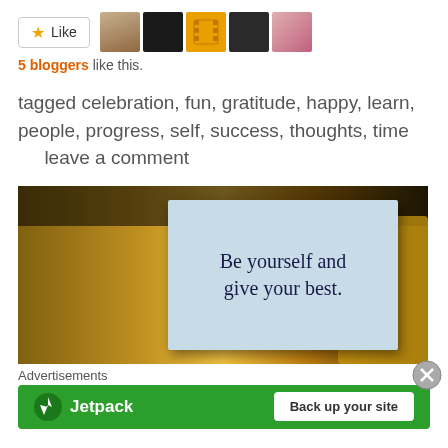[Figure (other): Like button with star icon and five blogger avatar thumbnails]
5 bloggers like this.
tagged celebration, fun, gratitude, happy, learn, people, progress, self, success, thoughts, time      leave a comment
[Figure (photo): Photo of a handwritten note card reading 'Be yourself and give your best.' on a blurred colorful background]
Advertisements
[Figure (other): Jetpack advertisement banner with logo and 'Back up your site' button]